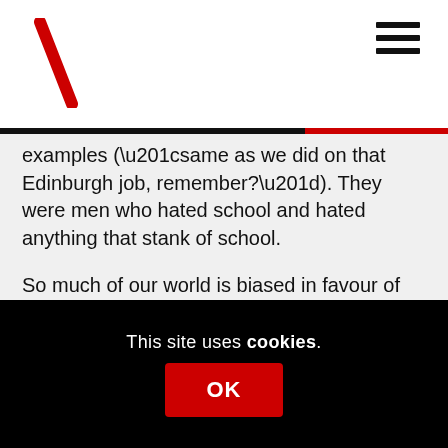examples (“same as we did on that Edinburgh job, remember?”). They were men who hated school and hated anything that stank of school.
So much of our world is biased in favour of wordy patter merchants with good memories for what they read. It’s a very over-rated skill. Almost every piece of useful, practical infrastructure around you was built & installed by someone who failed their English exams.
They...
This site uses cookies.